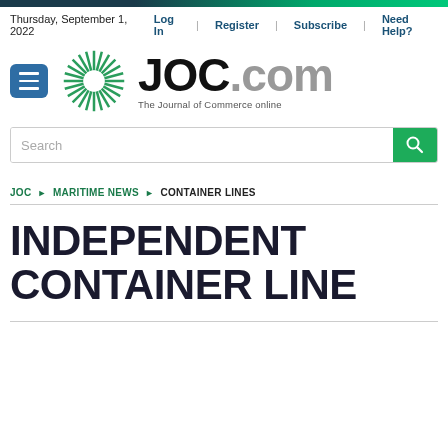Thursday, September 1, 2022
Log In | Register | Subscribe | Need Help?
[Figure (logo): JOC.com - The Journal of Commerce online logo with green spiral icon and menu button]
Search
JOC ▶ MARITIME NEWS ▶ CONTAINER LINES
INDEPENDENT CONTAINER LINE